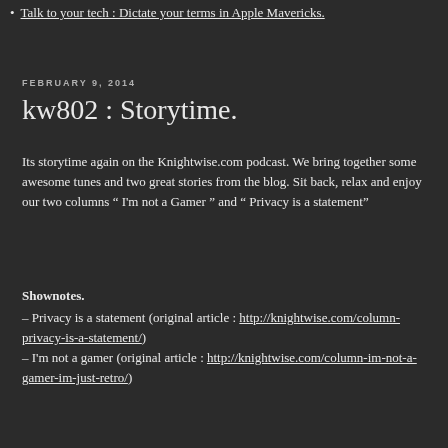Talk to your tech : Dictate your terms in Apple Mavericks.
FEBRUARY 9, 2014
kw802 : Storytime.
Its storytime again on the Knightwise.com podcast. We bring together some awesome tunes and two great stories from the blog. Sit back, relax and enjoy our two columns " I'm not a Gamer " and " Privacy is a statement"
Shownotes.
– Privacy is a statement (original article : http://knightwise.com/column-privacy-is-a-statement/)
– I'm not a gamer (original article : http://knightwise.com/column-im-not-a-gamer-im-just-retro/)